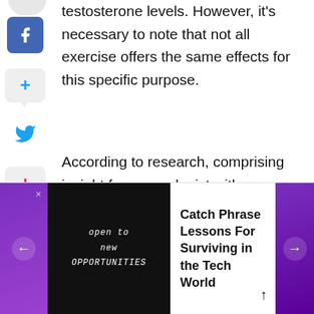testosterone levels. However, it's necessary to note that not all exercise offers the same effects for this specific purpose.
According to research, comprising insight from a urologist with Piedmont Healthcare, a mix of cardio and strength training through high-intensity interval workouts and weightlifting is the best
[Figure (screenshot): Social media sharing sidebar with Facebook icon, share bubble with plus, Twitter bird icon, share bubble with red plus, and Pinterest icon]
[Figure (screenshot): Recommended content carousel showing article 'Catch Phrase Lessons For Surviving in the Tech World' with a dark image showing 'open to new OPPORTUNITIES' text, purple navigation arrows, and up arrow button]
Catch Phrase Lessons For Surviving in the Tech World